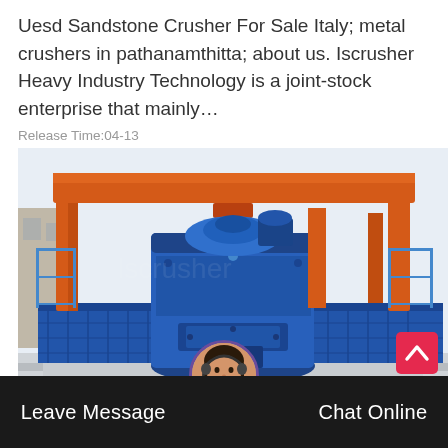Uesd Sandstone Crusher For Sale Italy; metal crushers in pathanamthitta; about us. Iscrusher Heavy Industry Technology is a joint-stock enterprise that mainly…
Release Time:04-13
[Figure (photo): Large blue industrial sandstone crusher machine with orange overhead gantry crane structure, mounted on a flatbed/platform, photographed outdoors at a facility.]
Leave Message
Chat Online